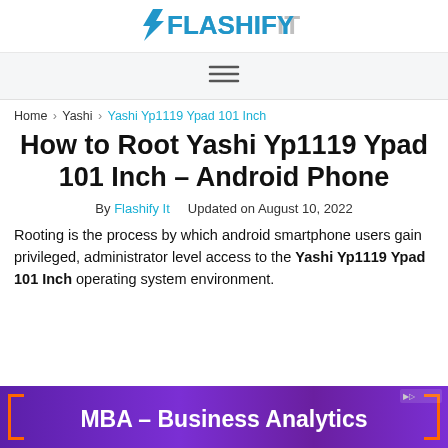Flashify It
Navigation menu icon
Home > Yashi > Yashi Yp1119 Ypad 101 Inch
How to Root Yashi Yp1119 Ypad 101 Inch – Android Phone
By Flashify It   Updated on August 10, 2022
Rooting is the process by which android smartphone users gain privileged, administrator level access to the Yashi Yp1119 Ypad 101 Inch operating system environment.
[Figure (other): MBA – Business Analytics advertisement banner with orange border decorations on a purple gradient background]